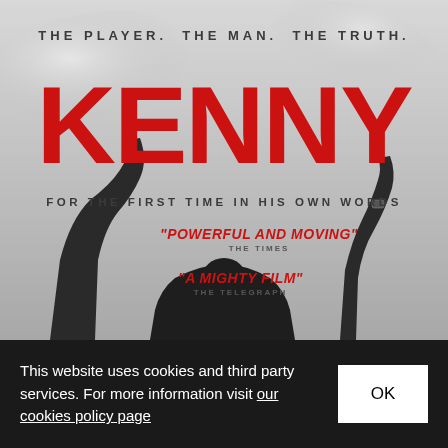[Figure (photo): Movie poster for 'Kenny' documentary. Black and white photo of a man with arms raised against a cloudy sky. Large red title 'KENNY' in the center. Text reads 'THE PLAYER. THE MAN. THE TRUTH.' at top and 'FOR THE FIRST TIME IN HIS OWN WORDS' below title. Two red quotes: 'POWERFUL AND MOVING' - THE TIMES, and 'A MIGHTY FILM' - THE TELEGRAPH.]
This website uses cookies and third party services. For more information visit our cookies policy page
OK